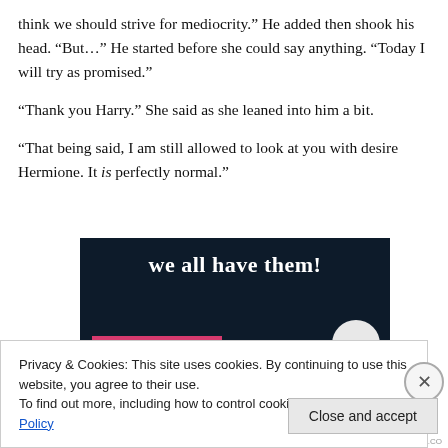think we should strive for mediocrity." He added then shook his head. "But…" He started before she could say anything. "Today I will try as promised."
"Thank you Harry." She said as she leaned into him a bit.
"That being said, I am still allowed to look at you with desire Hermione. It is perfectly normal."
[Figure (screenshot): Dark navy background with bold white text reading 'we all have them!' and a pink bar and white circle at the bottom.]
Privacy & Cookies: This site uses cookies. By continuing to use this website, you agree to their use.
To find out more, including how to control cookies, see here: Cookie Policy
Close and accept